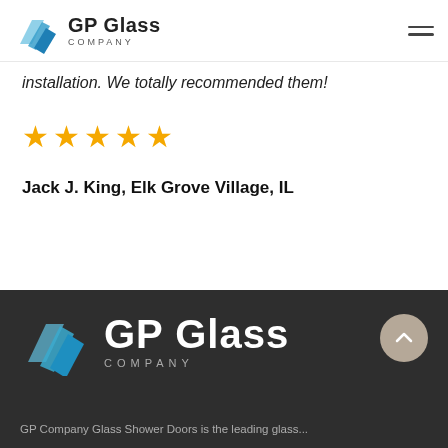GP Glass Company
installation. We totally recommended them!
[Figure (other): Five gold star rating]
Jack J. King, Elk Grove Village, IL
[Figure (logo): GP Glass Company logo on dark background with back-to-top button]
GP Company Glass Shower Doors is the leading glass...